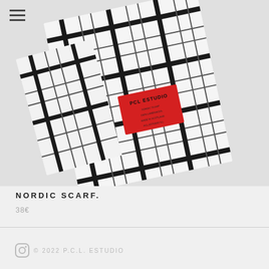[Figure (photo): Nordic plaid scarf with black and white tartan pattern, showing a red brand label patch reading PCL ESTUDIO, photographed on light grey background]
NORDIC SCARF.
38€
© 2022 P.C.L. ESTUDIO